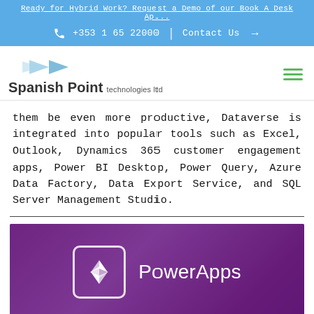Ready for Hybrid Work? Request a Demo of our Book A Desk Ap...
+353 1 65 22000  |  Contact Us →
[Figure (logo): Spanish Point technologies ltd logo with blue bowtie/arrow graphic]
them be even more productive, Dataverse is integrated into popular tools such as Excel, Outlook, Dynamics 365 customer engagement apps, Power BI Desktop, Power Query, Azure Data Factory, Data Export Service, and SQL Server Management Studio.
[Figure (screenshot): PowerApps logo on purple/violet background showing the PowerApps icon (diamond shapes in rounded square) and the text PowerApps in white]